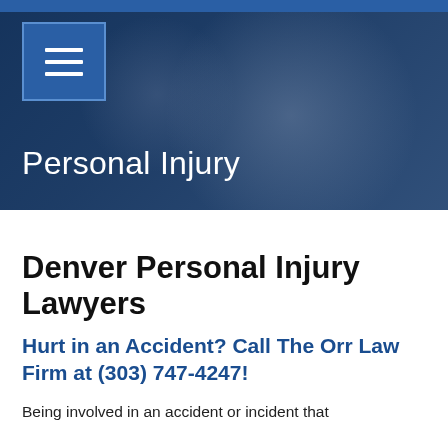[Figure (photo): Hero banner with a dark blue overlay showing two people (adult and child) partially visible. A blue square menu icon (hamburger menu) is in the top-left corner. A blue bar runs across the very top of the image.]
Personal Injury
Denver Personal Injury Lawyers
Hurt in an Accident? Call The Orr Law Firm at (303) 747-4247!
Being involved in an accident or incident that